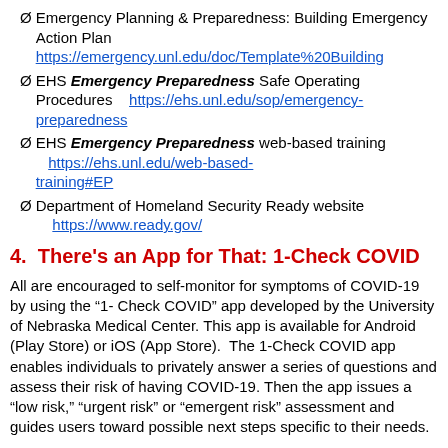Ø Emergency Planning & Preparedness: Building Emergency Action Plan https://emergency.unl.edu/doc/Template%20Building
Ø EHS Emergency Preparedness Safe Operating Procedures https://ehs.unl.edu/sop/emergency-preparedness
Ø EHS Emergency Preparedness web-based training https://ehs.unl.edu/web-based-training#EP
Ø Department of Homeland Security Ready website https://www.ready.gov/
4. There's an App for That: 1-Check COVID
All are encouraged to self-monitor for symptoms of COVID-19 by using the “1- Check COVID” app developed by the University of Nebraska Medical Center. This app is available for Android (Play Store) or iOS (App Store).  The 1-Check COVID app enables individuals to privately answer a series of questions and assess their risk of having COVID-19. Then the app issues a “low risk,” “urgent risk” or “emergent risk” assessment and guides users toward possible next steps specific to their needs.